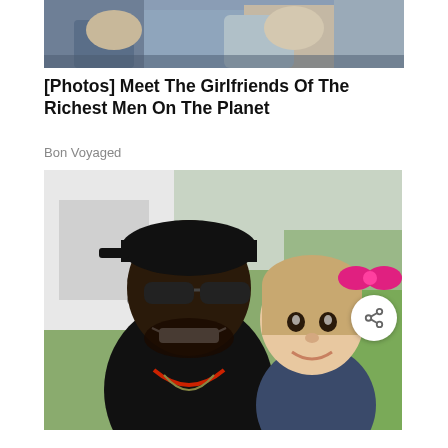[Figure (photo): Partial photo at top showing two people seated, cropped — only lower portions visible]
[Photos] Meet The Girlfriends Of The Richest Men On The Planet
Bon Voyaged
[Figure (photo): A smiling man wearing a black cap and sunglasses posing with a young girl with a pink bow in her hair, outdoors near a vehicle and green lawn]